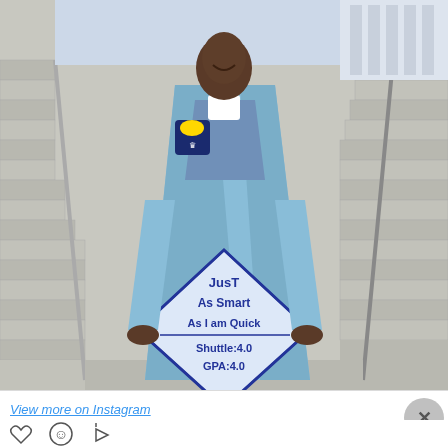[Figure (photo): A young man in a light blue graduation gown and cap, standing on steps outside a building. He is holding up his graduation cap which has text written on it reading: 'JusT As Smart As I am Quick Shuttle:4.0 GPA:4.0'. He is smiling.]
View more on Instagram